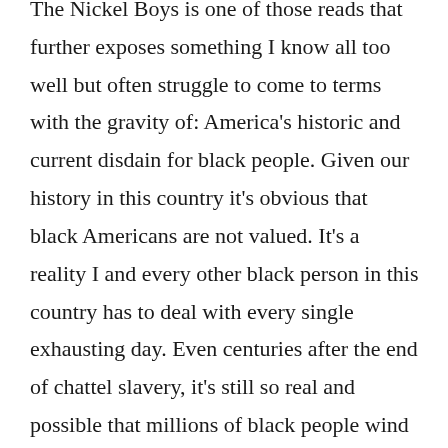The Nickel Boys is one of those reads that further exposes something I know all too well but often struggle to come to terms with the gravity of: America's historic and current disdain for black people. Given our history in this country it's obvious that black Americans are not valued. It's a reality I and every other black person in this country has to deal with every single exhausting day. Even centuries after the end of chattel slavery, it's still so real and possible that millions of black people wind up in situations that eerily mirror the days of enslavement. I will always appreciate a bit of reading that exposes more of America's injustices towards black Americans. For me, that kind of